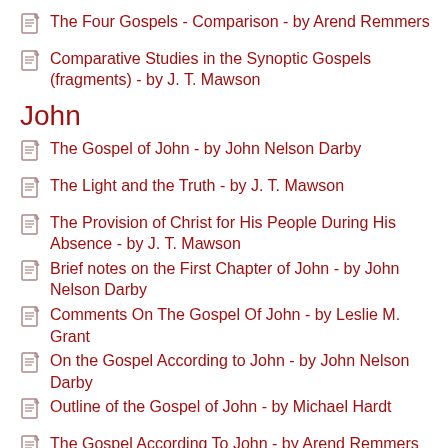The Four Gospels - Comparison - by Arend Remmers
Comparative Studies in the Synoptic Gospels (fragments) - by J. T. Mawson
John
The Gospel of John - by John Nelson Darby
The Light and the Truth - by J. T. Mawson
The Provision of Christ for His People During His Absence - by J. T. Mawson
Brief notes on the First Chapter of John - by John Nelson Darby
Comments On The Gospel Of John - by Leslie M. Grant
On the Gospel According to John - by John Nelson Darby
Outline of the Gospel of John - by Michael Hardt
The Gospel According To John - by Arend Remmers